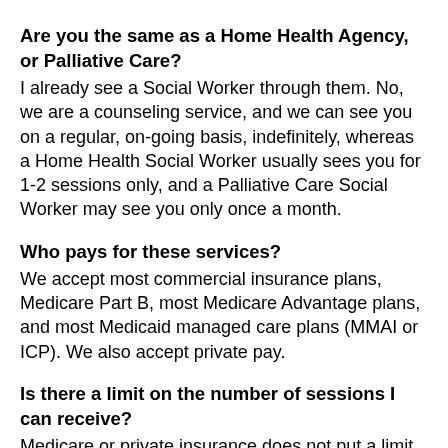Are you the same as a Home Health Agency, or Palliative Care?
I already see a Social Worker through them. No, we are a counseling service, and we can see you on a regular, on-going basis, indefinitely, whereas a Home Health Social Worker usually sees you for 1-2 sessions only, and a Palliative Care Social Worker may see you only once a month.
Who pays for these services?
We accept most commercial insurance plans, Medicare Part B, most Medicare Advantage plans, and most Medicaid managed care plans (MMAI or ICP). We also accept private pay.
Is there a limit on the number of sessions I can receive?
Medicare or private insurance does not put a limit on how long you may receive services. However, managed care insurance plans typically require pre-authorizations for blocks of sessions, and may not authorize services indefinitely.
Are services available anywhere I live?
We can serve any residential location in Cook, Lake,